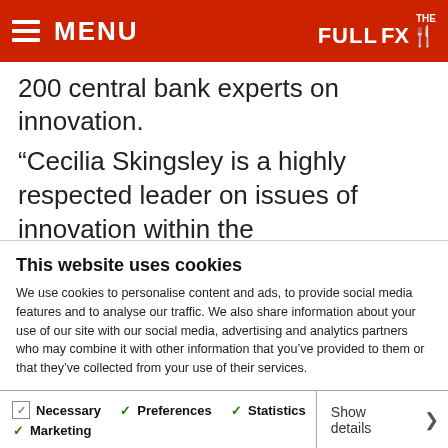MENU | THE FULL FX
200 central bank experts on innovation.
“Cecilia Skingsley is a highly respected leader on issues of innovation within the international community,” the BIS says. “She
This website uses cookies
We use cookies to personalise content and ads, to provide social media features and to analyse our traffic. We also share information about your use of our site with our social media, advertising and analytics partners who may combine it with other information that you’ve provided to them or that they’ve collected from your use of their services.
Allow all cookies
Allow selection
Use necessary cookies only
Necessary  Preferences  Statistics  Marketing  Show details